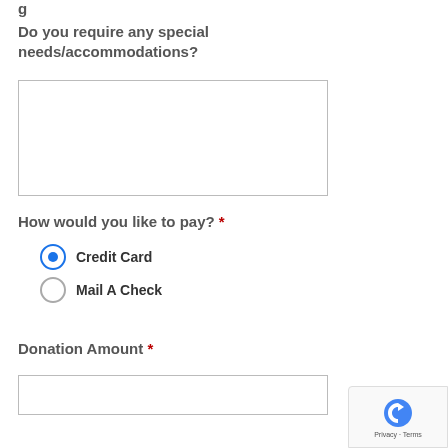Do you require any special needs/accommodations?
[Figure (other): Empty text area input box for special needs/accommodations response]
How would you like to pay? *
Credit Card (selected radio button)
Mail A Check (unselected radio button)
Donation Amount *
[Figure (other): reCAPTCHA badge with Privacy - Terms text]